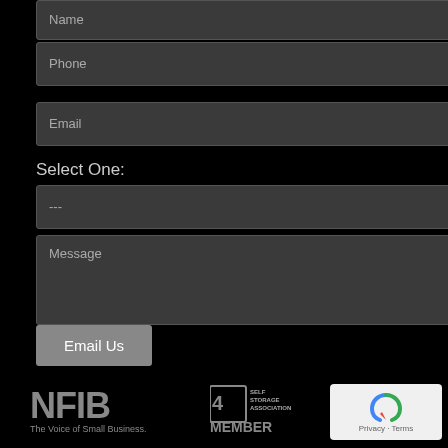[Figure (other): Name input field (form element, dark background)]
[Figure (other): Phone input field (form element, dark background)]
[Figure (other): Email input field (form element, dark background)]
Select One:
[Figure (other): Dropdown select field showing '---']
[Figure (other): Message textarea (form element, dark background)]
[Figure (other): Email Us button]
[Figure (logo): NFIB - The Voice of Small Business logo]
[Figure (logo): Self Storage Association MEMBER logo]
[Figure (other): reCAPTCHA Privacy - Terms widget]